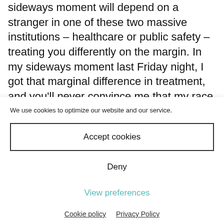sideways moment will depend on a stranger in one of these two massive institutions – healthcare or public safety – treating you differently on the margin. In my sideways moment last Friday night, I got that marginal difference in treatment, and you'll never convince me that my race and class weren't the edge in winning that
We use cookies to optimize our website and our service.
Accept cookies
Deny
View preferences
Cookie policy   Privacy Policy